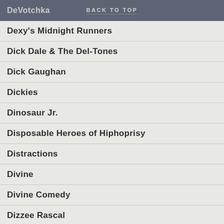DeVotchka  BACK TO TOP
Dexy's Midnight Runners
Dick Dale & The Del-Tones
Dick Gaughan
Dickies
Dinosaur Jr.
Disposable Heroes of Hiphoprisy
Distractions
Divine
Divine Comedy
Dizzee Rascal
DJ Food
Django Django